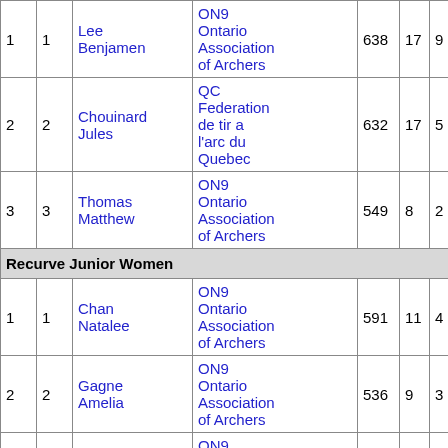|  |  | Name | Association | Score | 10s | X |
| --- | --- | --- | --- | --- | --- | --- |
| 1 | 1 | Lee Benjamen | ON9 Ontario Association of Archers | 638 | 17 | 9 |
| 2 | 2 | Chouinard Jules | QC Federation de tir a l'arc du Quebec | 632 | 17 | 5 |
| 3 | 3 | Thomas Matthew | ON9 Ontario Association of Archers | 549 | 8 | 2 |
| Recurve Junior Women |  |  |  |  |  |  |
| 1 | 1 | Chan Natalee | ON9 Ontario Association of Archers | 591 | 11 | 4 |
| 2 | 2 | Gagne Amelia | ON9 Ontario Association of Archers | 536 | 9 | 3 |
| 3 | 3 | DeZeeuw Brianna | ON9 Ontario Association of Archers | 531 | 4 | 2 |